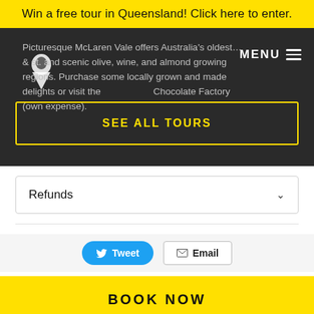Win a free tour in Queensland! Click here to enter.
Picturesque McLaren Vale offers Australia's oldest… & st. and scenic olive, wine, and almond growing regions. Purchase some locally grown and made delights or visit the Chocolate Factory (own expense).
SEE ALL TOURS
MENU
Refunds
Tweet
Email
BOOK NOW